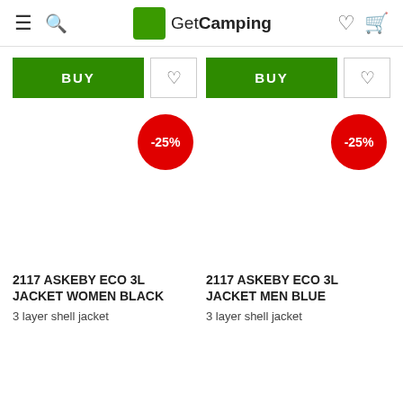GetCamping
[Figure (screenshot): BUY button (green) and heart/favourite button for left product]
[Figure (screenshot): BUY button (green) and heart/favourite button for right product]
[Figure (infographic): -25% discount badge (red circle) overlaid on left product image area]
[Figure (infographic): -25% discount badge (red circle) overlaid on right product image area]
2117 ASKEBY ECO 3L JACKET WOMEN BLACK
2117 ASKEBY ECO 3L JACKET MEN BLUE
3 layer shell jacket
3 layer shell jacket